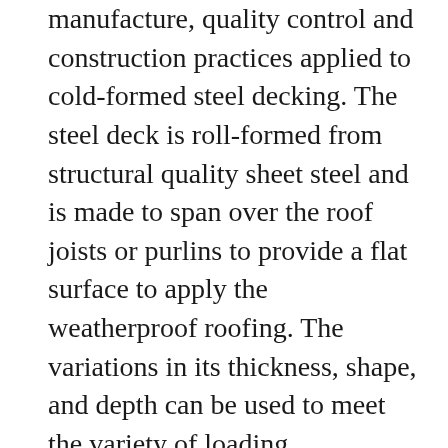manufacture, quality control and construction practices applied to cold-formed steel decking. The steel deck is roll-formed from structural quality sheet steel and is made to span over the roof joists or purlins to provide a flat surface to apply the weatherproof roofing. The variations in its thickness, shape, and depth can be used to meet the variety of loading requirements and spans. The steel deck's versatility also allows for it to be used in more unusual configurations that may be sloped or curved. Steel decks are usually more costly than materials like plywood however, they provide increased longevity, durability, and a better strength-to-weight ratio backed by years of proven satisfaction in the roofing